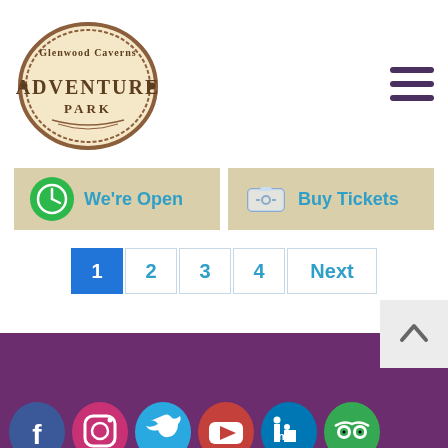[Figure (logo): Glenwood Caverns Adventure Park logo - oval badge shape with text 'Glenwood Caverns ADVENTURE PARK']
[Figure (other): Hamburger menu icon (three horizontal lines) in dark purple]
[Figure (other): Green clock icon button labeled 'We're Open' on tan background]
[Figure (other): Ticket icon button labeled 'Buy Tickets' on tan background]
Pagination: 1 (active/blue), 2, 3, 4, Next
[Figure (other): Purple footer bar with 6 social media icon circles: Facebook (blue), Instagram (red/pink), Twitter (blue), YouTube (red), LinkedIn (blue), TripAdvisor (green)]
[Figure (other): Scroll-to-top button with upward chevron arrow, light grey background]